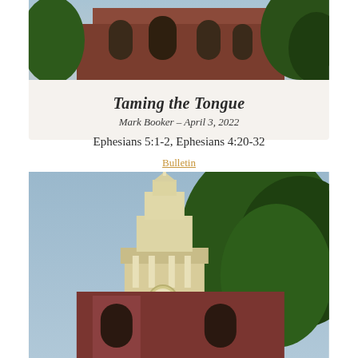[Figure (photo): Top portion of a red brick church building with arched windows and surrounding trees against a blue sky, cropped view]
Taming the Tongue
Mark Booker – April 3, 2022
Ephesians 5:1-2, Ephesians 4:20-32
Bulletin
Watch   Listen
[Figure (photo): White church steeple with cross on top, red brick building below, surrounded by green trees against a blue sky]